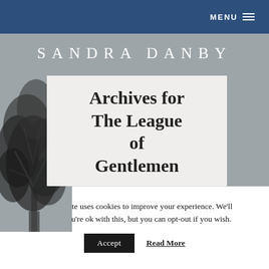MENU ≡
SANDRA DANBY
Archives for The League of Gentlemen
This website uses cookies to improve your experience. We'll assume you're ok with this, but you can opt-out if you wish.
Accept  Read More